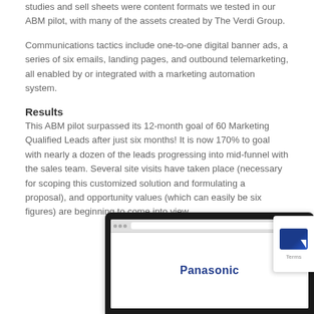studies and sell sheets were content formats we tested in our ABM pilot, with many of the assets created by The Verdi Group.
Communications tactics include one-to-one digital banner ads, a series of six emails, landing pages, and outbound telemarketing, all enabled by or integrated with a marketing automation system.
Results
This ABM pilot surpassed its 12-month goal of 60 Marketing Qualified Leads after just six months! It is now 170% to goal with nearly a dozen of the leads progressing into mid-funnel with the sales team. Several site visits have taken place (necessary for scoping this customized solution and formulating a proposal), and opportunity values (which can easily be six figures) are beginning to come into view.
[Figure (screenshot): Laptop showing a Panasonic website screenshot in a browser window, with a cookie consent widget visible on the right side]